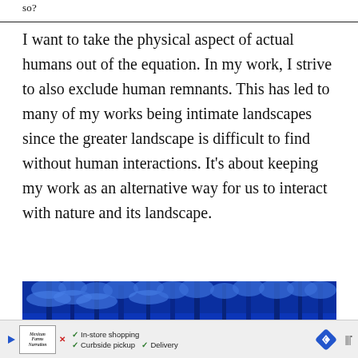so?
I want to take the physical aspect of actual humans out of the equation. In my work, I strive to also exclude human remnants. This has led to many of my works being intimate landscapes since the greater landscape is difficult to find without human interactions. It’s about keeping my work as an alternative way for us to interact with nature and its landscape.
[Figure (photo): A blue-toned winter forest photograph showing snow-covered trees against a deep blue sky, with rounded snowy shapes in the foreground.]
[Figure (other): Advertisement bar showing play button, X button, a logo for Mexican Farms, checkmarks for In-store shopping, Curbside pickup, and Delivery, a blue diamond navigation icon, and audio wave icon.]